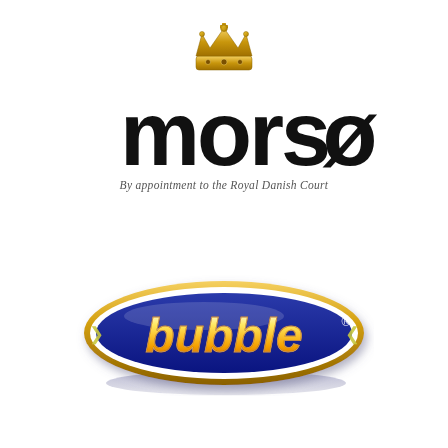[Figure (logo): Morsø logo with golden crown above, bold black 'morsø' wordmark, and italic tagline 'By appointment to the Royal Danish Court']
[Figure (logo): Bubble logo: oval dark blue badge with gold border and shadow, white/yellow gradient bold italic 'bubble' text with registered trademark symbol]